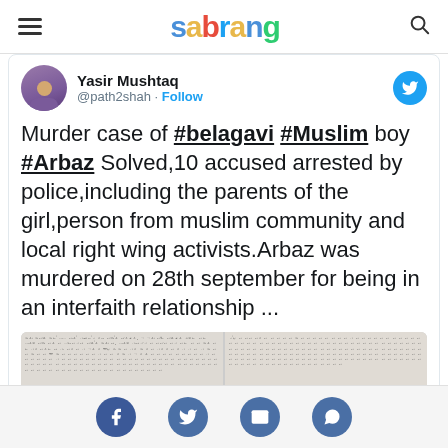sabrang
Yasir Mushtaq @path2shah · Follow
Murder case of #belagavi #Muslim boy #Arbaz Solved,10 accused arrested by police,including the parents of the girl,person from muslim community and local right wing activists.Arbaz was murdered on 28th september for being in an interfaith relationship ...
[Figure (photo): Scanned document image in Kannada language, two columns of text]
Social share icons: Facebook, Twitter, Email, WhatsApp